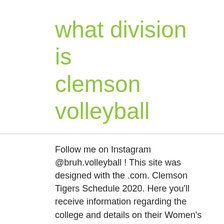what division is clemson volleyball
Follow me on Instagram @bruh.volleyball ! This site was designed with the .com. Clemson Tigers Schedule 2020. Here you'll receive information regarding the college and details on their Women's Volleyball program like who to make contact with about recruiting, names of past alumni, what scholarship opportunities are presented and how to begin the recruiting process. profiles were viewed 5.4 million times by college coaches in 2018. Nationals in Denver Colorado. That being said, there is nothing official currently on what the Clemson football schedule will look like, so hereâs our best prediction. Come on our Cle...